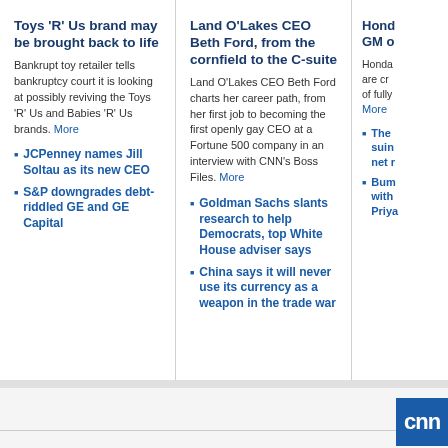Toys 'R' Us brand may be brought back to life
Bankrupt toy retailer tells bankruptcy court it is looking at possibly reviving the Toys 'R' Us and Babies 'R' Us brands. More
JCPenney names Jill Soltau as its new CEO
S&P downgrades debt-riddled GE and GE Capital
Land O'Lakes CEO Beth Ford, from the cornfield to the C-suite
Land O'Lakes CEO Beth Ford charts her career path, from her first job to becoming the first openly gay CEO at a Fortune 500 company in an interview with CNN's Boss Files. More
Goldman Sachs slants research to help Democrats, top White House adviser says
China says it will never use its currency as a weapon in the trade war
Hond... GM o...
Honda... are cr... of fully... More
The ... suin... net r...
Bum... with... Priya...